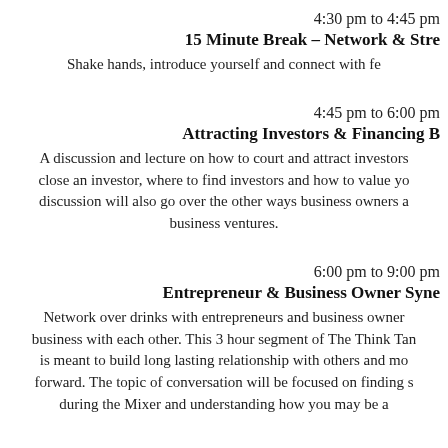4:30 pm to 4:45 pm
15 Minute Break – Network & Stre
Shake hands, introduce yourself and connect with fe
4:45 pm to 6:00 pm
Attracting Investors & Financing B
A discussion and lecture on how to court and attract investors, close an investor, where to find investors and how to value yo discussion will also go over the other ways business owners a business ventures.
6:00 pm to 9:00 pm
Entrepreneur & Business Owner Syne
Network over drinks with entrepreneurs and business owner business with each other. This 3 hour segment of The Think Tan is meant to build long lasting relationship with others and mo forward. The topic of conversation will be focused on finding s during the Mixer and understanding how you may be a